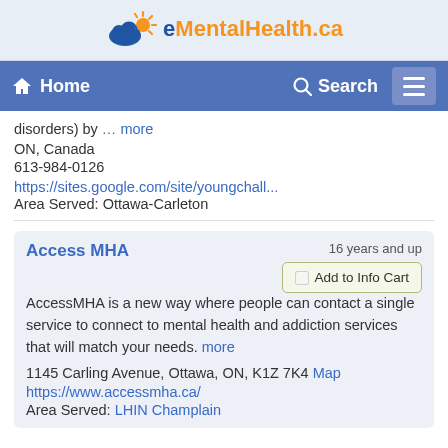[Figure (logo): eMentalHealth.ca logo with cloud and sun icon]
Home | Search
disorders) by ... more
ON, Canada
613-984-0126
https://sites.google.com/site/youngchall...
Area Served: Ottawa-Carleton
Access MHA
AccessMHA is a new way where people can contact a single service to connect to mental health and addiction services that will match your needs. more
1145 Carling Avenue, Ottawa, ON, K1Z 7K4 Map
https://www.accessmha.ca/
Area Served: LHIN Champlain